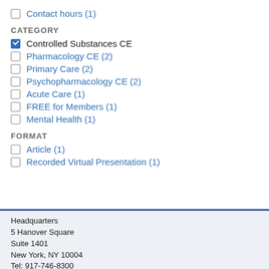Contact hours (1)
CATEGORY
Controlled Substances CE
Pharmacology CE (2)
Primary Care (2)
Psychopharmacology CE (2)
Acute Care (1)
FREE for Members (1)
Mental Health (1)
FORMAT
Article (1)
Recorded Virtual Presentation (1)
Headquarters
5 Hanover Square
Suite 1401
New York, NY 10004
Tel: 917-746-8300
Fax: 212-785-1713